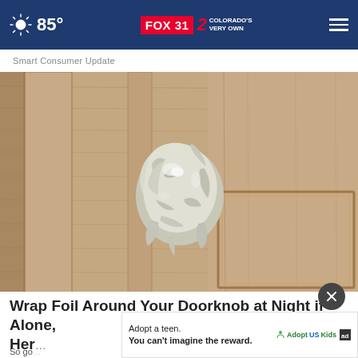85° FOX 31 2 COLORADO'S VERY OWN
Smart Consumer Update
[Figure (photo): A door knob wrapped in aluminum foil, photographed up close on a wooden door]
Wrap Foil Around Your Doorknob at Night if Alone, Her...
So go...
[Figure (other): Advertisement: Adopt a teen. You can't imagine the reward. Adopt US Kids logo with ad badge]